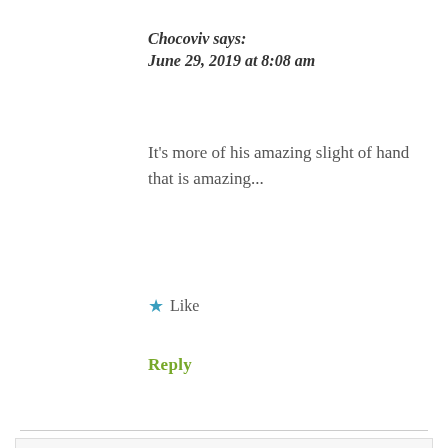Chocoviv says:
June 29, 2019 at 8:08 am
It's more of his amazing slight of hand that is amazing...
★ Like
Reply
Privacy & Cookies: This site uses cookies. By continuing to use this website, you agree to their use.
To find out more, including how to control cookies, see here: Cookie Policy
Close and accept